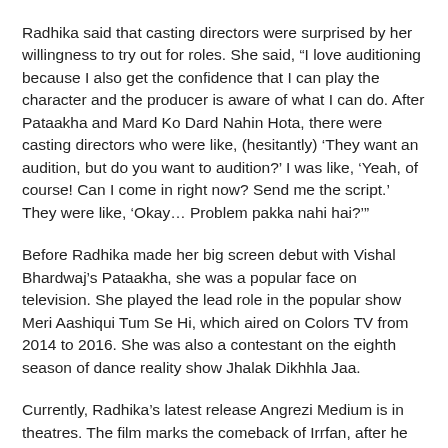Radhika said that casting directors were surprised by her willingness to try out for roles. She said, “I love auditioning because I also get the confidence that I can play the character and the producer is aware of what I can do. After Pataakha and Mard Ko Dard Nahin Hota, there were casting directors who were like, (hesitantly) ‘They want an audition, but do you want to audition?’ I was like, ‘Yeah, of course! Can I come in right now? Send me the script.’ They were like, ‘Okay… Problem pakka nahi hai?’”
Before Radhika made her big screen debut with Vishal Bhardwaj’s Pataakha, she was a popular face on television. She played the lead role in the popular show Meri Aashiqui Tum Se Hi, which aired on Colors TV from 2014 to 2016. She was also a contestant on the eighth season of dance reality show Jhalak Dikhhla Jaa.
Currently, Radhika’s latest release Angrezi Medium is in theatres. The film marks the comeback of Irrfan, after he was diagnosed with a neuroendocrine tumour. She plays his daughter, who aspires to